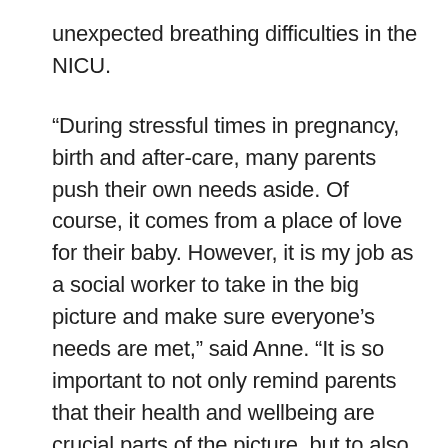unexpected breathing difficulties in the NICU.
“During stressful times in pregnancy, birth and after-care, many parents push their own needs aside. Of course, it comes from a place of love for their baby. However, it is my job as a social worker to take in the big picture and make sure everyone’s needs are met,” said Anne. “It is so important to not only remind parents that their health and wellbeing are crucial parts of the picture, but to also help them address any personal challenges or stressors